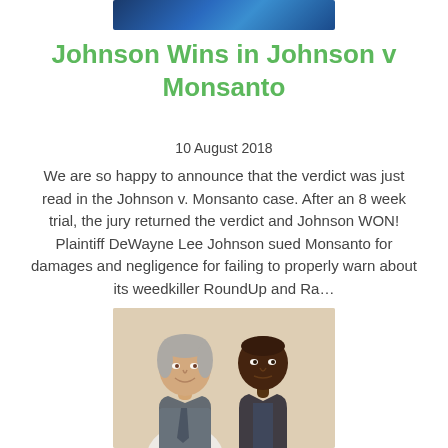[Figure (photo): Blue banner header image at top of page]
Johnson Wins in Johnson v Monsanto
10 August 2018
We are so happy to announce that the verdict was just read in the Johnson v. Monsanto case. After an 8 week trial, the jury returned the verdict and Johnson WON! Plaintiff DeWayne Lee Johnson sued Monsanto for damages and negligence for failing to properly warn about its weedkiller RoundUp and Ra...
[Figure (photo): Photo of two men (attorney and plaintiff DeWayne Lee Johnson) posed together, smiling for a selfie-style photograph]